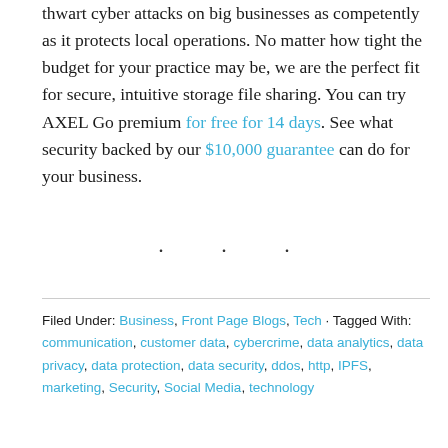thwart cyber attacks on big businesses as competently as it protects local operations. No matter how tight the budget for your practice may be, we are the perfect fit for secure, intuitive storage file sharing. You can try AXEL Go premium for free for 14 days. See what security backed by our $10,000 guarantee can do for your business.
· · ·
Filed Under: Business, Front Page Blogs, Tech · Tagged With: communication, customer data, cybercrime, data analytics, data privacy, data protection, data security, ddos, http, IPFS, marketing, Security, Social Media, technology